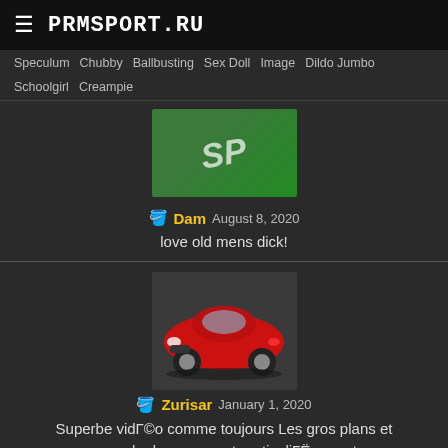PRMSPORT.RU
Speculum  Chubby  Ballbusting  Sex Doll  Image  Dildo Jumbo  Schoolgirl  Creampie
[Figure (photo): Thumbnail image with green background and white 'SP' text]
Dam  August 8, 2020
love old mens dick!
[Figure (photo): Red sports car (Jaguar) facing front-left]
Zurisar  January 1, 2020
Superbe vidГ©o comme toujours Les gros plans et vues de dessous sont particuliГЁrement apprГ©ciГ©es.
[Figure (photo): CGI face of a female character with dark hair and pointed ears]